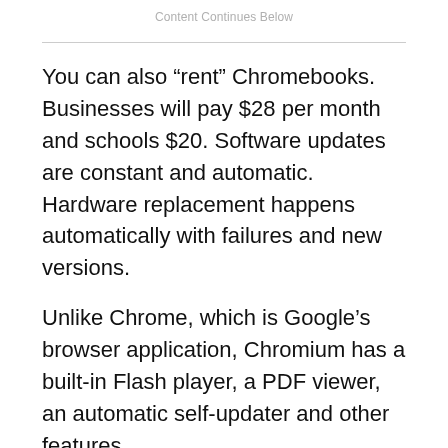Content Continues Below
You can also “rent” Chromebooks. Businesses will pay $28 per month and schools $20. Software updates are constant and automatic. Hardware replacement happens automatically with failures and new versions.
Unlike Chrome, which is Google’s browser application, Chromium has a built-in Flash player, a PDF viewer, an automatic self-updater and other features.
Google claims that Chromebooks have multiple advantages over other computers, including